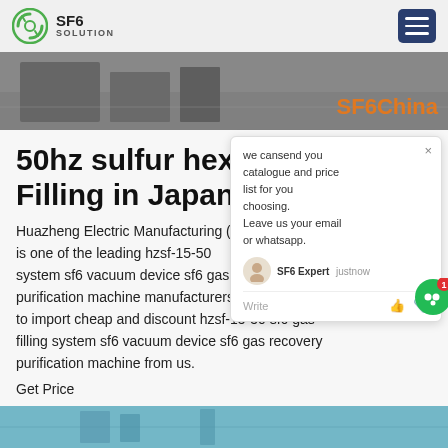SF6 SOLUTION
[Figure (screenshot): Hero banner image with dark background showing industrial equipment, with orange text 'SF6China' in the bottom right]
50hz sulfur hexaflu... Filling in Japan
Huazheng Electric Manufacturing (B...Ltd is one of the leading hzsf-15-50 system sf6 vacuum device sf6 gas r... purification machine manufacturers China, welcome to import cheap and discount hzsf-15-50 sf6 gas filling system sf6 vacuum device sf6 gas recovery purification machine from us.
Get Price
[Figure (screenshot): Chat popup widget showing message: 'we cansend you catalogue and price list for you choosing. Leave us your email or whatsapp.' with SF6 Expert agent avatar and Write input area]
[Figure (photo): Bottom strip showing blue-toned image of industrial/outdoor scene]